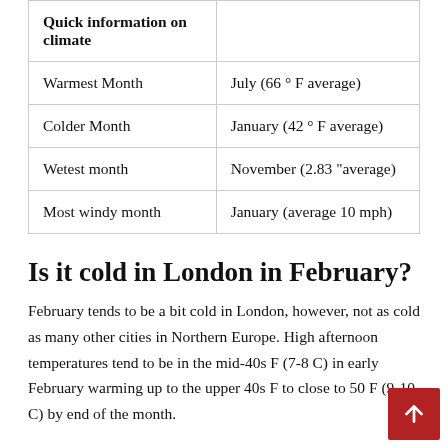| Quick information on climate |  |
| --- | --- |
| Warmest Month | July (66 ° F average) |
| Colder Month | January (42 ° F average) |
| Wetest month | November (2.83 "average) |
| Most windy month | January (average 10 mph) |
Is it cold in London in February?
February tends to be a bit cold in London, however, not as cold as many other cities in Northern Europe. High afternoon temperatures tend to be in the mid-40s F (7-8 C) in early February warming up to the upper 40s F to close to 50 F (9-10 C) by end of the month.
What is the sunniest month in London?